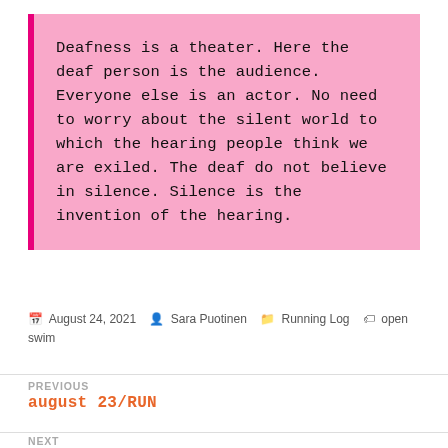Deafness is a theater. Here the deaf person is the audience. Everyone else is an actor. No need to worry about the silent world to which the hearing people think we are exiled. The deaf do not believe in silence. Silence is the invention of the hearing.
August 24, 2021  Sara Puotinen  Running Log  open swim
PREVIOUS
auugust 23/RUN
NEXT
auugust 25/SWIM